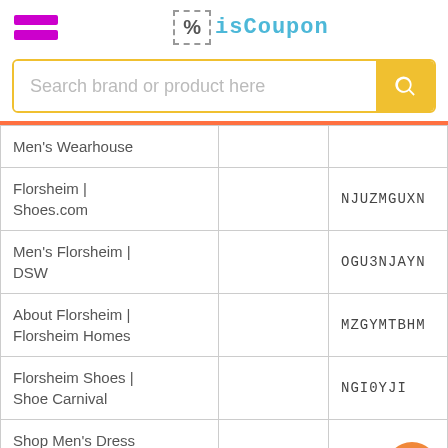isCoupon
Search brand or product here
|  |  |  |
| --- | --- | --- |
| Men's Wearhouse |  |  |
| Florsheim | Shoes.com |  | NJUZMGUXN |
| Men's Florsheim | DSW |  | OGU3NJAYN |
| About Florsheim | Florsheim Homes |  | MZGYMTBHM |
| Florsheim Shoes | Shoe Carnival |  | NGI0YJI |
| Shop Men's Dress Shoes, Casual Shoes Florsheim Shoes |  | YMM2YTVJMT |